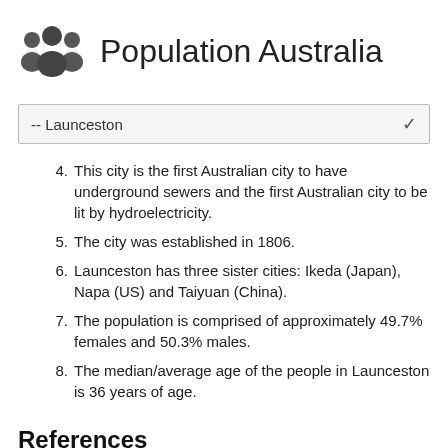Population Australia
-- Launceston
4. This city is the first Australian city to have underground sewers and the first Australian city to be lit by hydroelectricity.
5. The city was established in 1806.
6. Launceston has three sister cities: Ikeda (Japan), Napa (US) and Taiyuan (China).
7. The population is comprised of approximately 49.7% females and 50.3% males.
8. The median/average age of the people in Launceston is 36 years of age.
References